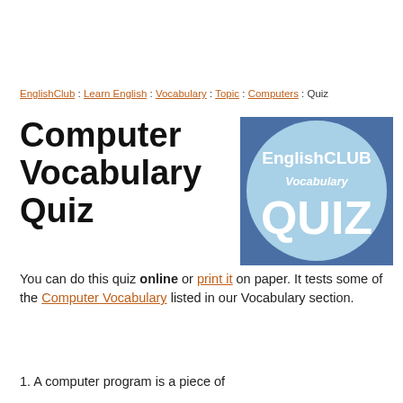EnglishClub : Learn English : Vocabulary : Topic : Computers : Quiz
Computer Vocabulary Quiz
[Figure (logo): EnglishCLUB Vocabulary QUIZ logo — blue square background with a light blue circle containing white text 'EnglishCLUB Vocabulary QUIZ']
You can do this quiz online or print it on paper. It tests some of the Computer Vocabulary listed in our Vocabulary section.
1. A computer program is a piece of